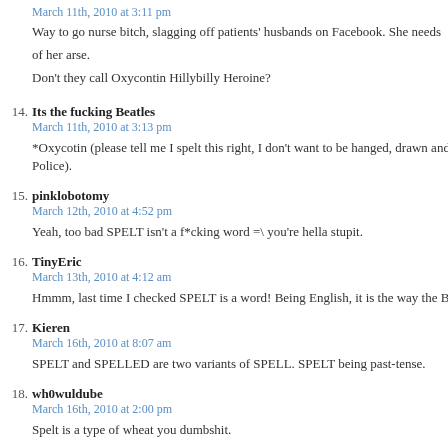March 11th, 2010 at 3:11 pm
Way to go nurse bitch, slagging off patients' husbands on Facebook. She needs to take that b of her arse.
Don't they call Oxycontin Hillybilly Heroine?
14. Its the fucking Beatles
March 11th, 2010 at 3:13 pm
*Oxycotin (please tell me I spelt this right, I don't want to be hanged, drawn and quartered b Police).
15. pinklobotomy
March 12th, 2010 at 4:52 pm
Yeah, too bad SPELT isn't a f*cking word =\ you're hella stupit.
16. TinyEric
March 13th, 2010 at 4:12 am
Hmmm, last time I checked SPELT is a word! Being English, it is the way the Brits spell sp
17. Kieren
March 16th, 2010 at 8:07 am
SPELT and SPELLED are two variants of SPELL. SPELT being past-tense.
18. wh0wuldube
March 16th, 2010 at 2:00 pm
Spelt is a type of wheat you dumbshit.
19. Its the fucking Beatles
March 22nd, 2010 at 8:54 am